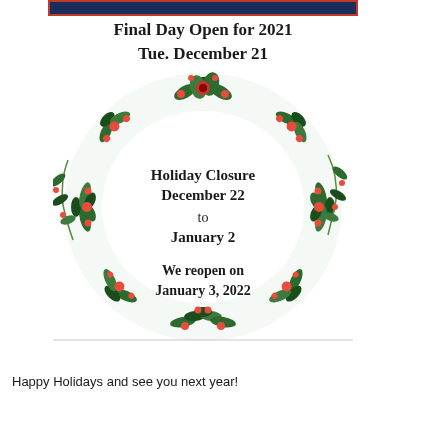[Figure (illustration): Holiday closure announcement with a decorative Christmas wreath made of green leaves, red berries, and red/pink flowers. Inside the wreath: 'Holiday Closure December 22 to January 2 We reopen on January 3, 2022'. Above the wreath: 'Final Day Open for 2021 Tue. December 21']
Happy Holidays and see you next year!